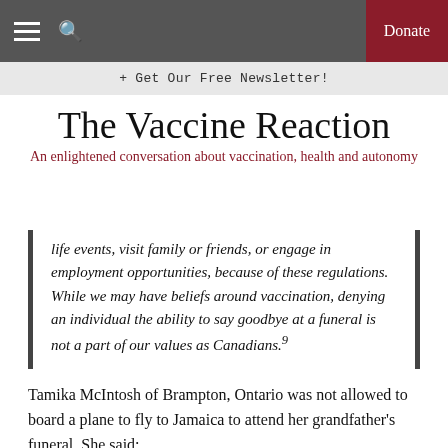The Vaccine Reaction — An enlightened conversation about vaccination, health and autonomy
+ Get Our Free Newsletter!
The Vaccine Reaction
An enlightened conversation about vaccination, health and autonomy
life events, visit family or friends, or engage in employment opportunities, because of these regulations. While we may have beliefs around vaccination, denying an individual the ability to say goodbye at a funeral is not a part of our values as Canadians.9
Tamika McIntosh of Brampton, Ontario was not allowed to board a plane to fly to Jamaica to attend her grandfather's funeral. She said: